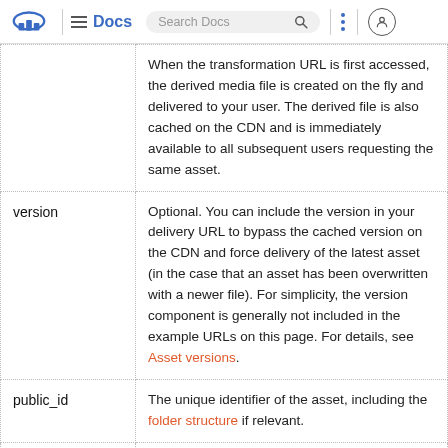Docs — Search Docs
| Parameter | Description |
| --- | --- |
|  | When the transformation URL is first accessed, the derived media file is created on the fly and delivered to your user. The derived file is also cached on the CDN and is immediately available to all subsequent users requesting the same asset. |
| version | Optional. You can include the version in your delivery URL to bypass the cached version on the CDN and force delivery of the latest asset (in the case that an asset has been overwritten with a newer file). For simplicity, the version component is generally not included in the example URLs on this page. For details, see Asset versions. |
| public_id | The unique identifier of the asset, including the folder structure if relevant. |
| extension | Optional. The file extension of the |